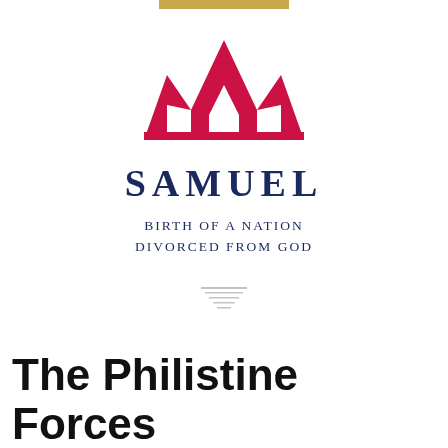[Figure (logo): Red crown logo above the word SAMUEL in dark navy, with subtitle BIRTH OF A NATION DIVORCED FROM GOD]
[Figure (other): Small decorative divider icon with horizontal lines]
The Philistine Forces